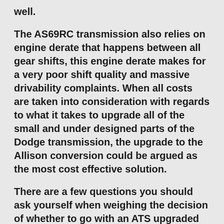well.
The AS69RC transmission also relies on engine derate that happens between all gear shifts, this engine derate makes for a very poor shift quality and massive drivability complaints. When all costs are taken into consideration with regards to what it takes to upgrade all of the small and under designed parts of the Dodge transmission, the upgrade to the Allison conversion could be argued as the most cost effective solution.
There are a few questions you should ask yourself when weighing the decision of whether to go with an ATS upgraded Dodge transmission or to replace it with an Allison conversion. Some questions...